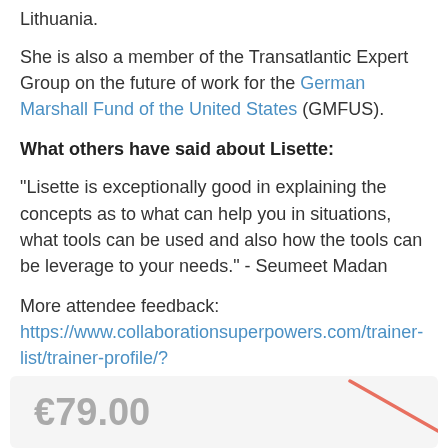Lithuania.
She is also a member of the Transatlantic Expert Group on the future of work for the German Marshall Fund of the United States (GMFUS).
What others have said about Lisette:
"Lisette is exceptionally good in explaining the concepts as to what can help you in situations, what tools can be used and also how the tools can be leverage to your needs." - Seumeet Madan
More attendee feedback:
https://www.collaborationsuperpowers.com/trainer-list/trainer-profile/?id=28&full_name=Lisette%20Sutherland
[Figure (other): Price box showing €79.00 with a diagonal salmon/coral colored line across the box, indicating a crossed-out price.]